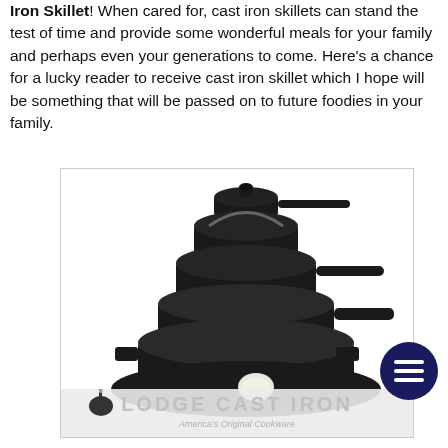Iron Skillet! When cared for, cast iron skillets can stand the test of time and provide some wonderful meals for your family and perhaps even your generations to come. Here's a chance for a lucky reader to receive cast iron skillet which I hope will be something that will be passed on to future foodies in your family.
[Figure (photo): Stack of Lodge cast iron cookware including skillets, pots, and dutch ovens piled on top of each other on a white background, with Lodge Cast Iron logo and 'America's Original Cookware' text at the bottom.]